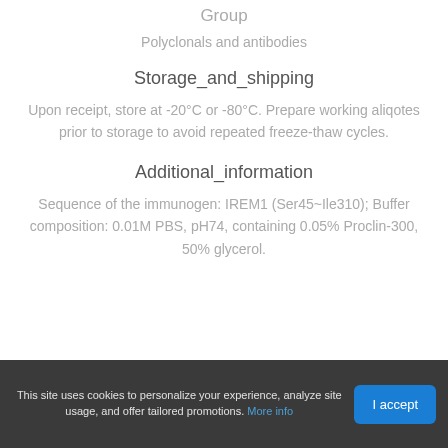Group
Polyclonals and antibodies
Storage_and_shipping
Upon receipt, store at -20°C or -80°C. Prepare working aliqotes prior to storage to avoid repeated freeze-thaw cycles.
Additional_information
Sequence of the immunogen: IREM1 (Ser45~Ile310); Buffer composition: 0.01M PBS, pH74, containing 0.05% Proclin-300, 50% glycerol.
This site uses cookies to personalize your experience, analyze site usage, and offer tailored promotions. More info